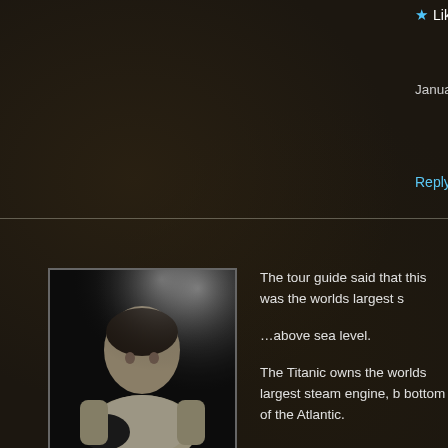★ Like
January 7, 2015 at 10:12 am
Reply
[Figure (photo): Avatar photo of Ichabod Temperance - a person in a light colored shirt with a cat, dark background]
Ichabod Temperance
The tour guide said that this was the worlds largest s
…above sea level.
The Titanic owns the worlds largest steam engine, b bottom of the Atlantic.
★ Liked by 1 person
April 16, 2015 at 4:06 pm
Reply
Share your thoughts